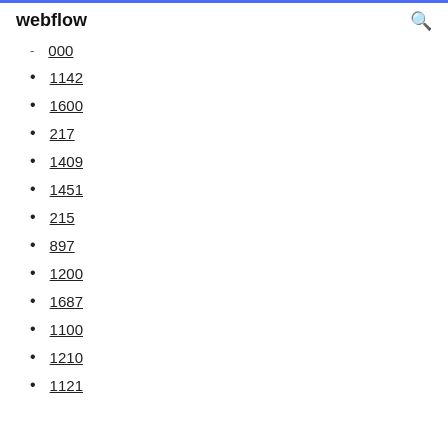webflow [search icon]
000
1142
1600
217
1409
1451
215
897
1200
1687
1100
1210
1121